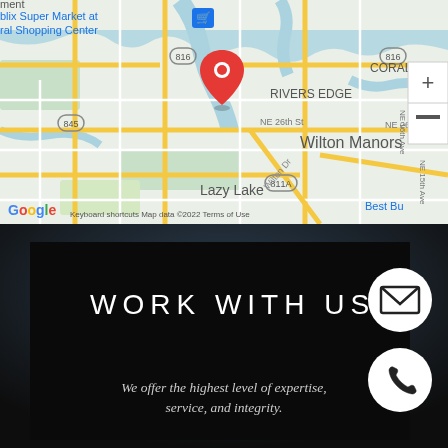[Figure (map): Google Maps view showing Wilton Manors area in Florida, with a red location pin near Rivers Edge. Labels include Wilton Manors, Lazy Lake, RIVERS EDGE, CORAL B, NE 26th St, Wilton Dr, NE 15th Ave, NE 16th Ave, road markers 816, 845, 811A. Zoom controls on right. Google logo bottom left. Map data copyright 2022.]
WORK WITH US
We offer the highest level of expertise, service, and integrity.